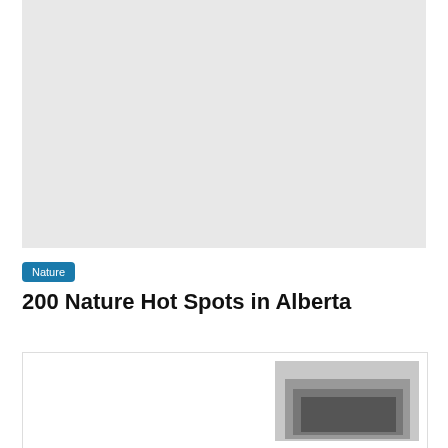[Figure (photo): Large gray placeholder image at top of page]
Nature
200 Nature Hot Spots in Alberta
[Figure (photo): Card with a small photo thumbnail showing an outdoor/building scene]